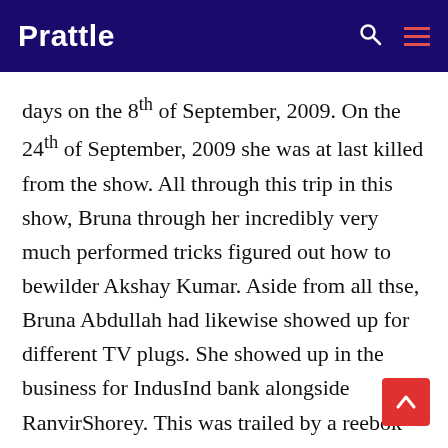Prattle
days on the 8th of September, 2009. On the 24th of September, 2009 she was at last killed from the show. All through this trip in this show, Bruna through her incredibly very much performed tricks figured out how to bewilder Akshay Kumar. Aside from all thse, Bruna Abdullah had likewise showed up for different TV plugs. She showed up in the business for IndusInd bank alongside RanvirShorey. This was trailed by a reebok business nearby Mahendra Singh Dhoni, the commander of the